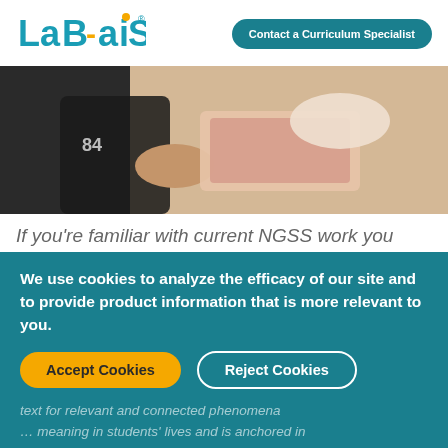[Figure (logo): Lab-AIDS logo in teal color with stylized text]
Contact a Curriculum Specialist
[Figure (photo): Student holding a tray in a classroom, wearing a black sweatshirt with number 84]
If you're familiar with current NGSS work you
We use cookies to analyze the efficacy of our site and to provide product information that is more relevant to you.
Accept Cookies
Reject Cookies
text for relevant and connected phenomena ... meaning in students' lives and is anchored in real-world events. These issues connect the why for students. "Why does this matter?"
Issue-oriented science forms the foundation of